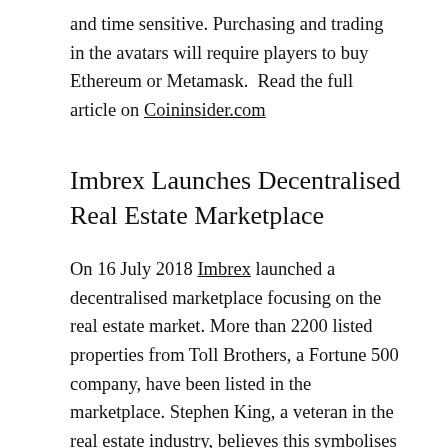and time sensitive. Purchasing and trading in the avatars will require players to buy Ethereum or Metamask.  Read the full article on Coininsider.com
Imbrex Launches Decentralised Real Estate Marketplace
On 16 July 2018 Imbrex launched a decentralised marketplace focusing on the real estate market. More than 2200 listed properties from Toll Brothers, a Fortune 500 company, have been listed in the marketplace. Stephen King, a veteran in the real estate industry, believes this symbolises is a significant change in the way real estate transactions will take place going forward by creating a secure environment with open communication for the real estate industry. The cost of utilising the marketplace will be significantly less than